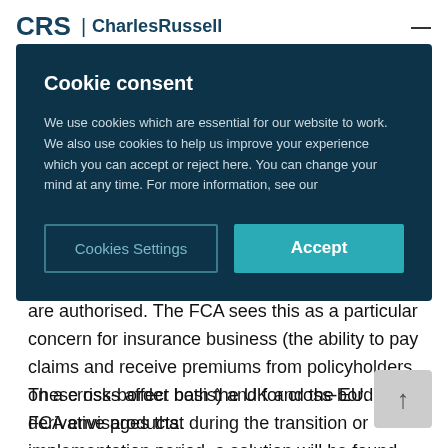CRS | CharlesRussell
Cookie consent
We use cookies which are essential for our website to work. We also use cookies to help us improve your experience which you can accept or reject here. You can change your mind at any time. For more information, see our
Cookies Settings
Accept
are authorised. The FCA sees this as a particular concern for insurance business (the ability to pay claims and receive premiums from policyholders on a cross-border basis) and for cross-border derivative products.
These risks affect both the UK and the EU. The FCA envisages that during the transition or implementation period, a solution will be found so as to reduce the risks to